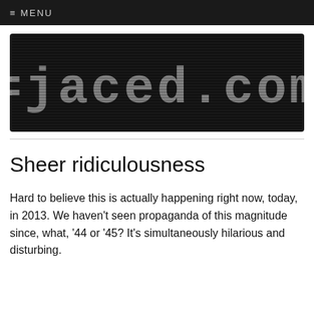≡ MENU
[Figure (logo): ejaced.com website logo — dark background with LED/dot-matrix style text reading '=jaced.com']
Sheer ridiculousness
Hard to believe this is actually happening right now, today, in 2013. We haven't seen propaganda of this magnitude since, what, '44 or '45? It's simultaneously hilarious and disturbing.